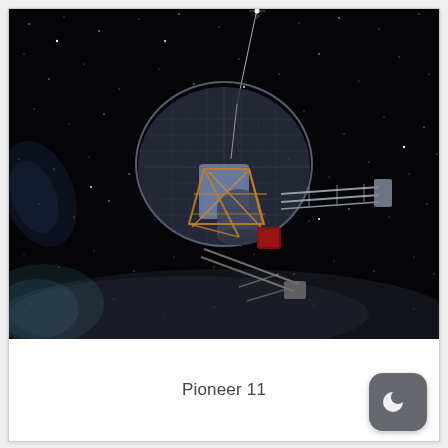[Figure (illustration): Artistic illustration of the Pioneer 11 spacecraft flying through deep space against a star-filled black sky with a faint Milky Way band visible in the lower portion. The spacecraft features a large circular dish antenna, gold-colored framework, a cylindrical body, and extended booms/antennae. A bright star or laser-like beam extends from upper area.]
Pioneer 11